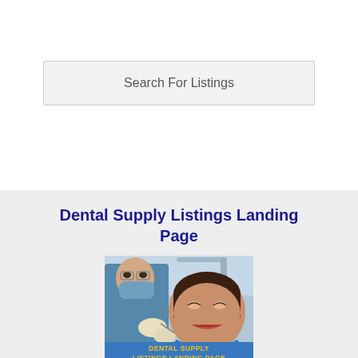Search For Listings
Dental Supply Listings Landing Page
[Figure (photo): Dental procedure photo showing a dentist in blue scrubs and mask treating a female patient who is reclined in a dental chair with mouth open. Below the photo is a blue banner with yellow text reading 'DENTAL SUPPLY LISTINGS LANDING PAGE'.]